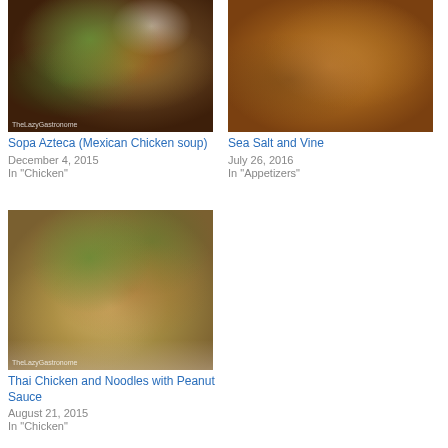[Figure (photo): Bowl of Sopa Azteca Mexican chicken soup with green onions, tortilla strips, sour cream, and cilantro in a reddish-brown broth. Watermark: TheLazyGastronome]
Sopa Azteca (Mexican Chicken soup)
December 4, 2015
In "Chicken"
[Figure (photo): Closeup of fried food (Sea Salt and Vine... partially visible) on dark background]
Sea Salt and Vine
July 26, 2016
In "Appetizers"
[Figure (photo): Thai Chicken and Noodles with Peanut Sauce served on a decorative plate with red and blue Asian-style border. Topped with green onions and sesame seeds. Watermark: TheLazyGastronome]
Thai Chicken and Noodles with Peanut Sauce
August 21, 2015
In "Chicken"